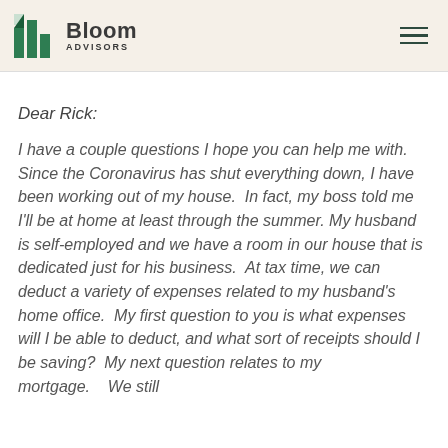Bloom Advisors
Dear Rick:
I have a couple questions I hope you can help me with.  Since the Coronavirus has shut everything down, I have been working out of my house.  In fact, my boss told me I'll be at home at least through the summer. My husband is self-employed and we have a room in our house that is dedicated just for his business.  At tax time, we can deduct a variety of expenses related to my husband's home office.  My first question to you is what expenses will I be able to deduct, and what sort of receipts should I be saving?  My next question relates to my mortgage.    We still